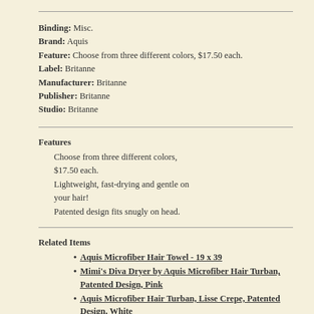Binding: Misc.
Brand: Aquis
Feature: Choose from three different colors, $17.50 each.
Label: Britanne
Manufacturer: Britanne
Publisher: Britanne
Studio: Britanne
Features
Choose from three different colors, $17.50 each.
Lightweight, fast-drying and gentle on your hair!
Patented design fits snugly on head.
Related Items
Aquis Microfiber Hair Towel - 19 x 39
Mimi's Diva Dryer by Aquis Microfiber Hair Turban, Patented Design, Pink
Aquis Microfiber Hair Turban, Lisse Crepe, Patented Design, White
Aquis Microfiber Body Towel, Lisse Crepe, White (29 x 55-Inches)
Aquis Microfiber Hair Towel, Lisse Crepe, White (19 x 39-Inches)
Editorial Reviews: